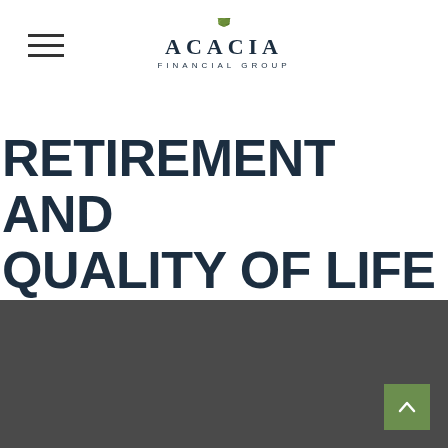ACACIA FINANCIAL GROUP
RETIREMENT AND QUALITY OF LIFE
Asking the right questions about how you can save money for retirement without sacrificing your quality of life.
[Figure (other): Dark gray footer section with a green scroll-to-top button in the bottom right corner containing a caret/chevron up arrow symbol.]